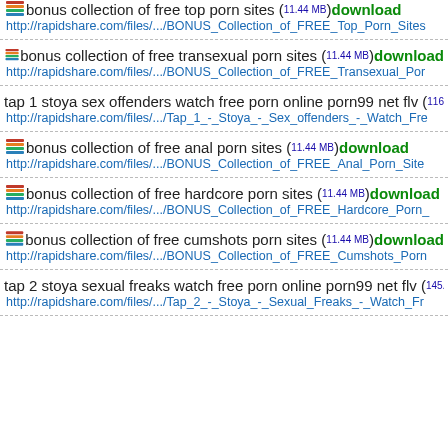bonus collection of free top porn sites (11.44 MB) download
http://rapidshare.com/files/.../BONUS_Collection_of_FREE_Top_Porn_Sites
bonus collection of free transexual porn sites (11.44 MB) download
http://rapidshare.com/files/.../BONUS_Collection_of_FREE_Transexual_Por
tap 1 stoya sex offenders watch free porn online porn99 net flv (116.3...
http://rapidshare.com/files/.../Tap_1_-_Stoya_-_Sex_offenders_-_Watch_Fre
bonus collection of free anal porn sites (11.44 MB) download
http://rapidshare.com/files/.../BONUS_Collection_of_FREE_Anal_Porn_Site
bonus collection of free hardcore porn sites (11.44 MB) download
http://rapidshare.com/files/.../BONUS_Collection_of_FREE_Hardcore_Porn_
bonus collection of free cumshots porn sites (11.44 MB) download
http://rapidshare.com/files/.../BONUS_Collection_of_FREE_Cumshots_Porn
tap 2 stoya sexual freaks watch free porn online porn99 net flv (145.9...
http://rapidshare.com/files/.../Tap_2_-_Stoya_-_Sexual_Freaks_-_Watch_Fr